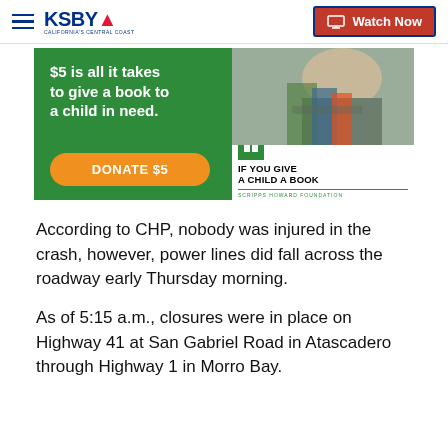KSBY - California's Central Coast | Watch Now
[Figure (photo): Advertisement for Scripps Howard Foundation 'If You Give a Child a Book' campaign. Green banner with text '$5 is all it takes to give a book to a child in need.' and orange 'DONATE $5' button. Right side shows photo of child holding books. Below photo: book icon, text 'IF YOU GIVE A CHILD A BOOK', 'SCRIPPS HOWARD FOUNDATION'.]
According to CHP, nobody was injured in the crash, however, power lines did fall across the roadway early Thursday morning.
As of 5:15 a.m., closures were in place on Highway 41 at San Gabriel Road in Atascadero through Highway 1 in Morro Bay.